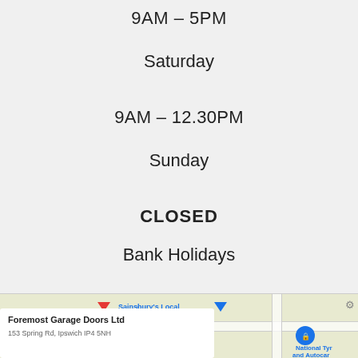9AM – 5PM
Saturday
9AM – 12.30PM
Sunday
CLOSED
Bank Holidays
CLOSED
[Figure (screenshot): Google Maps screenshot showing a map with pins for Sainsbury's Local, Foremost Garage Doors Ltd, and National Tyre and Autocar]